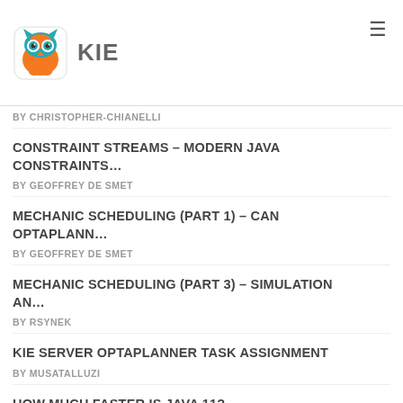KIE
BY CHRISTOPHER-CHIANELLI
CONSTRAINT STREAMS – MODERN JAVA CONSTRAINTS…
BY GEOFFREY DE SMET
MECHANIC SCHEDULING (PART 1) – CAN OPTAPLANN…
BY GEOFFREY DE SMET
MECHANIC SCHEDULING (PART 3) – SIMULATION AN…
BY RSYNEK
KIE SERVER OPTAPLANNER TASK ASSIGNMENT
BY MUSATALLUZI
HOW MUCH FASTER IS JAVA 11?
BY RSYNEK